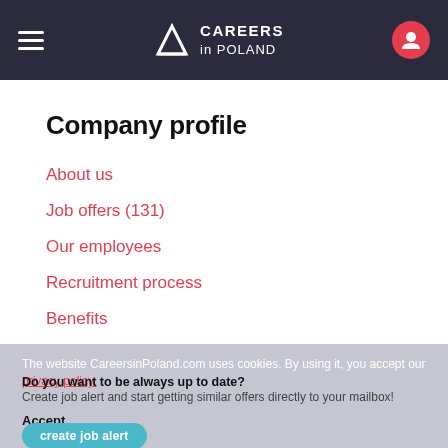CAREERS in POLAND
Company profile
About us
Job offers (131)
Our employees
Recruitment process
Benefits
The website CareersinPoland.com uses cookies. By using it, you accept our privacy policy.
Do you want to be always up to date?
Create job alert and start getting similar offers directly to your mailbox!
Accept
create job alert